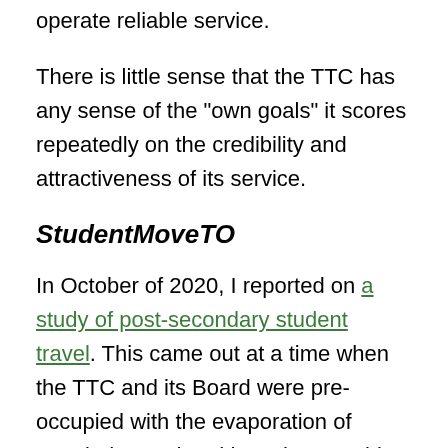operate reliable service.
There is little sense that the TTC has any sense of the “own goals” it scores repeatedly on the credibility and attractiveness of its service.
StudentMoveTO
In October of 2020, I reported on a study of post-secondary student travel. This came out at a time when the TTC and its Board were pre-occupied with the evaporation of transit demand and how they would simply keep the lights on. Indeed, it was odd to hear management react to this presentation as if they had not seen the study before.
I will only touch on a few points here because interested